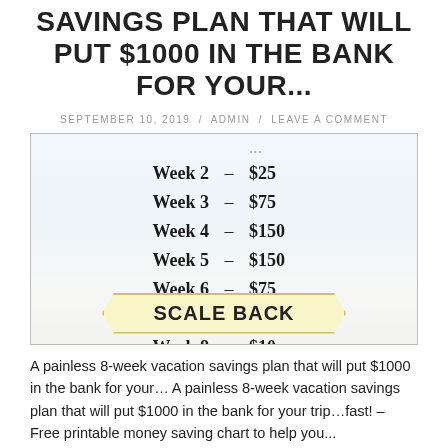SAVINGS PLAN THAT WILL PUT $1000 IN THE BANK FOR YOUR...
SEPTEMBER 10, 2019 / ADMIN / LEAVE A COMMENT
[Figure (infographic): 8-week savings plan infographic with beach background. Shows week-by-week savings amounts: Week 2 – $25, Week 3 – $75, Week 4 – $150, Week 5 – $150, Week 6 – $75, Week 7 – $25, Week 8 – $10. Banner at bottom reads SCALE BACK.]
A painless 8-week vacation savings plan that will put $1000 in the bank for your… A painless 8-week vacation savings plan that will put $1000 in the bank for your trip…fast! – Free printable money saving chart to help you...